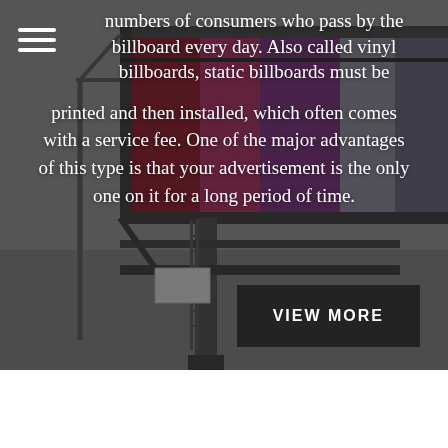[Figure (photo): Photograph of a large billboard structure against a grey sky, with red/pink/purple vinyl panels visible on the billboard face, showing the metal support structure and ladder.]
numbers of consumers who pass by the billboard every day. Also called vinyl billboards, static billboards must be printed and then installed, which often comes with a service fee. One of the major advantages of this type is that your advertisement is the only one on it for a long period of time.
VIEW MORE